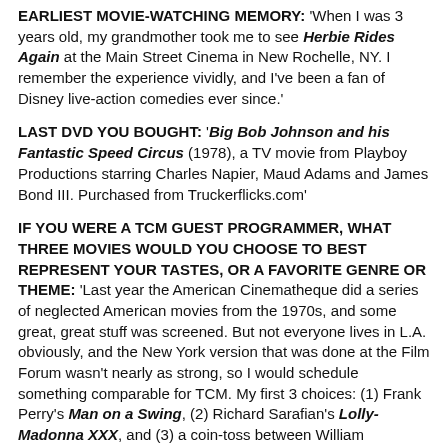EARLIEST MOVIE-WATCHING MEMORY: 'When I was 3 years old, my grandmother took me to see Herbie Rides Again at the Main Street Cinema in New Rochelle, NY. I remember the experience vividly, and I've been a fan of Disney live-action comedies ever since.'
LAST DVD YOU BOUGHT: 'Big Bob Johnson and his Fantastic Speed Circus (1978), a TV movie from Playboy Productions starring Charles Napier, Maud Adams and James Bond III. Purchased from Truckerflicks.com'
IF YOU WERE A TCM GUEST PROGRAMMER, WHAT THREE MOVIES WOULD YOU CHOOSE TO BEST REPRESENT YOUR TASTES, OR A FAVORITE GENRE OR THEME: 'Last year the American Cinematheque did a series of neglected American movies from the 1970s, and some great, great stuff was screened. But not everyone lives in L.A. obviously, and the New York version that was done at the Film Forum wasn't nearly as strong, so I would schedule something comparable for TCM. My first 3 choices: (1) Frank Perry's Man on a Swing, (2) Richard Sarafian's Lolly-Madonna XXX, and (3) a coin-toss between William'